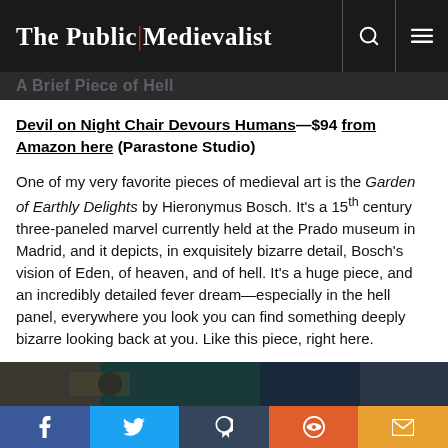The Public Medievalist
A Brief Piece of Hell
Devil on Night Chair Devours Humans—$94 from Amazon here (Parastone Studio)
One of my very favorite pieces of medieval art is the Garden of Earthly Delights by Hieronymus Bosch. It's a 15th century three-paneled marvel currently held at the Prado museum in Madrid, and it depicts, in exquisitely bizarre detail, Bosch's vision of Eden, of heaven, and of hell. It's a huge piece, and an incredibly detailed fever dream—especially in the hell panel, everywhere you look you can find something deeply bizarre looking back at you. Like this piece, right here.
[Figure (photo): Partial view of a medieval artwork, likely from Bosch's hell panel, showing dark tones of blue, teal and brown.]